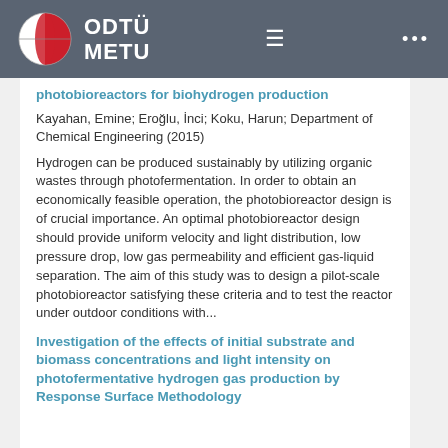[Figure (logo): ODTÜ METU university logo with red and white circular emblem and navigation bar with hamburger menu and dots menu]
photobioreactors for biohydrogen production
Kayahan, Emine; Eroğlu, İnci; Koku, Harun; Department of Chemical Engineering (2015)
Hydrogen can be produced sustainably by utilizing organic wastes through photofermentation. In order to obtain an economically feasible operation, the photobioreactor design is of crucial importance. An optimal photobioreactor design should provide uniform velocity and light distribution, low pressure drop, low gas permeability and efficient gas-liquid separation. The aim of this study was to design a pilot-scale photobioreactor satisfying these criteria and to test the reactor under outdoor conditions with...
Investigation of the effects of initial substrate and biomass concentrations and light intensity on photofermentative hydrogen gas production by Response Surface Methodology